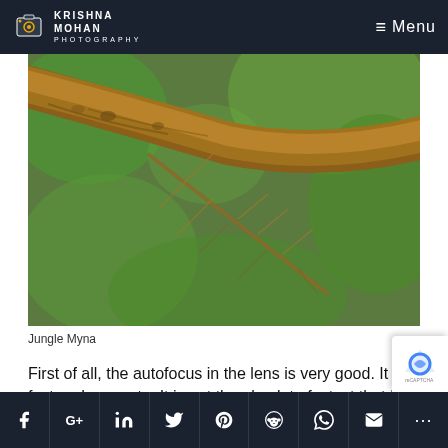KRISHNA MOHAN PHOTOGRAPHY — Menu
[Figure (photo): Close-up macro photograph of a stick insect (Jungle Myna) camouflaged on a brown branch with green blurred background foliage]
Jungle Myna
First of all, the autofocus in the lens is very good. It is fast and accurate. It is not the absolute fastest that I have experienced, but it is certainly good. Its focus behaviour with a 1.4x extender attached continue good, with only a slight tendency to hunt a bit...
Social share buttons: Facebook, Google+, LinkedIn, Twitter, Pinterest, Reddit, WhatsApp, Email, More